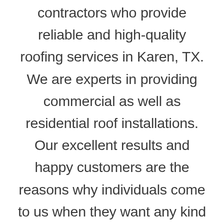Conroe roofing pros are contractors who provide reliable and high-quality roofing services in Karen, TX. We are experts in providing commercial as well as residential roof installations. Our excellent results and happy customers are the reasons why individuals come to us when they want any kind of services related to roofing.